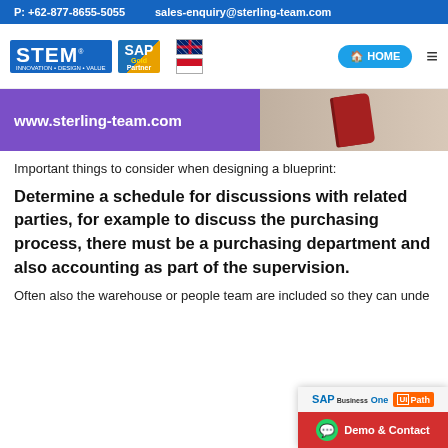P: +62-877-8655-5055   sales-enquiry@sterling-team.com
[Figure (logo): STEM SAP Gold Partner logo with navigation bar including HOME button and hamburger menu]
[Figure (photo): Banner with purple background showing www.sterling-team.com and photo of person with red book]
Important things to consider when designing a blueprint:
Determine a schedule for discussions with related parties, for example to discuss the purchasing process, there must be a purchasing department and also accounting as part of the supervision.
Often also the warehouse or people team are included so they can unde...
[Figure (infographic): SAP Business One and UiPath Demo & Contact widget with WhatsApp icon]